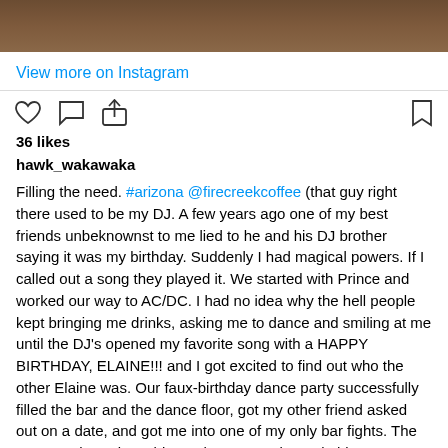[Figure (photo): Brown wooden surface/floor photo strip at top of Instagram post]
View more on Instagram
[Figure (other): Instagram action icons: heart (like), comment bubble, share arrow, bookmark]
36 likes
hawk_wakawaka
Filling the need. #arizona @firecreekcoffee (that guy right there used to be my DJ. A few years ago one of my best friends unbeknownst to me lied to he and his DJ brother saying it was my birthday. Suddenly I had magical powers. If I called out a song they played it. We started with Prince and worked our way to AC/DC. I had no idea why the hell people kept bringing me drinks, asking me to dance and smiling at me until the DJ's opened my favorite song with a HAPPY BIRTHDAY, ELAINE!!! and I got excited to find out who the other Elaine was. Our faux-birthday dance party successfully filled the bar and the dance floor, got my other friend asked out on a date, and got me into one of my only bar fights. The guy was three times bigger than me and I made him scream like a hyena (don't mess with a woman's hat) then they kicked him out. All thanks to that guy. Marty. He used to be my DJ.) for anyone curious, I ordered an almond milk mocha and it's